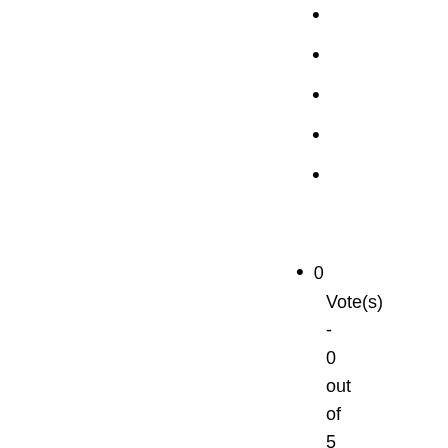•
•
•
•
•
0 Vote(s) - 0 out of 5 in Average
→ Paradigm Geolog 2021 readme23
2
39
05-31-202...
Last Po...
•
•
•
•
•
0